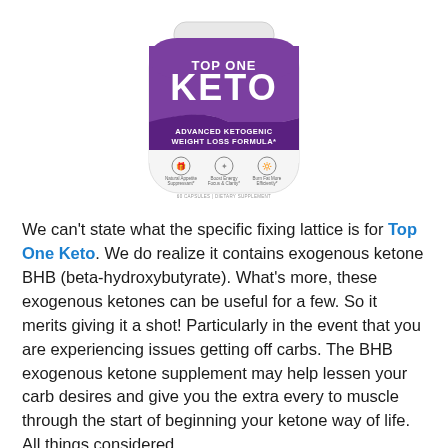[Figure (photo): Top One Keto supplement bottle — white round container with a purple label reading 'TOP ONE KETO' in large white letters, 'ADVANCED KETOGENIC WEIGHT LOSS FORMULA' on a dark purple band, and icons for Natural Appetite Suppressant, Boost Energy Focus & Clarity, Burn Fat More Efficiently. Bottom reads '60 CAPSULES | DIETARY SUPPLEMENT'.]
We can't state what the specific fixing lattice is for Top One Keto. We do realize it contains exogenous ketone BHB (beta-hydroxybutyrate). What's more, these exogenous ketones can be useful for a few. So it merits giving it a shot! Particularly in the event that you are experiencing issues getting off carbs. The BHB exogenous ketone supplement may help lessen your carb desires and give you the extra every to muscle through the start of beginning your ketone way of life. All things considered,